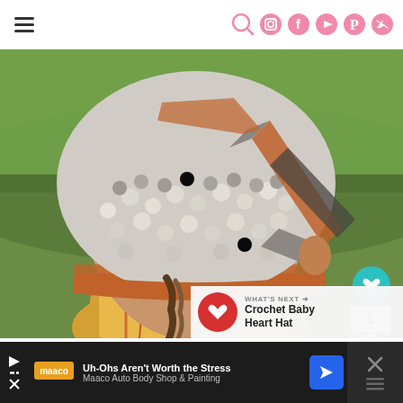Navigation header with hamburger menu and social icons (search, Instagram, Facebook, YouTube, Pinterest, Twitter)
[Figure (photo): Close-up photo of a child wearing a handmade crochet hat with orange, gray, brown, and white bobble stitch pattern, viewed from the side/back. Child is wearing a yellow outfit. Green grass visible in background.]
WHAT'S NEXT → Crochet Baby Heart Hat
Uh-Ohs Aren't Worth the Stress Maaco Auto Body Shop & Painting